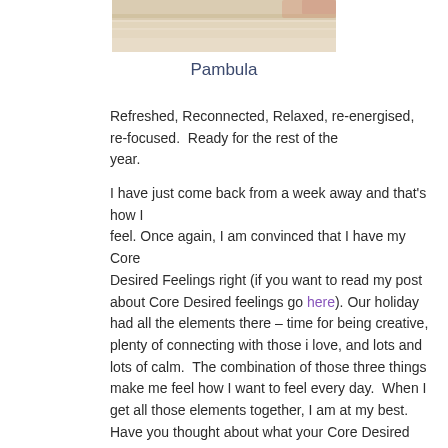[Figure (photo): Partial beach/sand photo strip at the top of the page]
Pambula
Refreshed, Reconnected, Relaxed, re-energised, re-focused.  Ready for the rest of the year.

I have just come back from a week away and that's how I feel. Once again, I am convinced that I have my Core Desired Feelings right (if you want to read my post about Core Desired feelings go here). Our holiday had all the elements there – time for being creative, plenty of connecting with those i love, and lots and lots of calm.  The combination of those three things make me feel how I want to feel every day.  When I get all those elements together, I am at my best.
Have you thought about what your Core Desired...